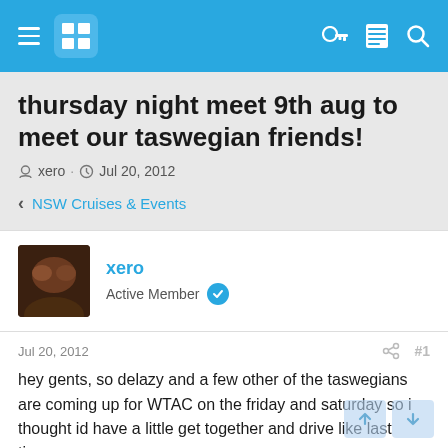Navigation bar with hamburger menu, logo, key icon, list icon, and search icon
thursday night meet 9th aug to meet our taswegian friends!
xero · Jul 20, 2012
< NSW Cruises & Events
xero
Active Member
Jul 20, 2012  #1
hey gents, so delazy and a few other of the taswegians are coming up for WTAC on the friday and saturday so i thought id have a little get together and drive like last time.